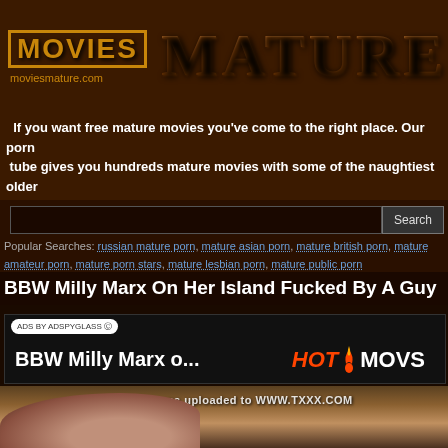[Figure (logo): MoviesMature website header logo with MOVIES text in orange box and MATURE in large western/wood-style lettering, moviesmature.com URL]
If you want free mature movies you've come to the right place. Our porn tube gives you hundreds mature movies with some of the naughtiest older dames.
Search
Popular Searches: russian mature porn, mature asian porn, mature british porn, mature amateur porn, mature porn stars, mature lesbian porn, mature public porn
BBW Milly Marx On Her Island Fucked By A Guy
[Figure (screenshot): Ad banner showing ADS BY ADSPYGLASS label, text BBW Milly Marx o... and HotMovs logo with red chili pepper icon]
[Figure (photo): Video thumbnail showing outdoor scene with text overlay: This video was uploaded to WWW.TXXX.COM]